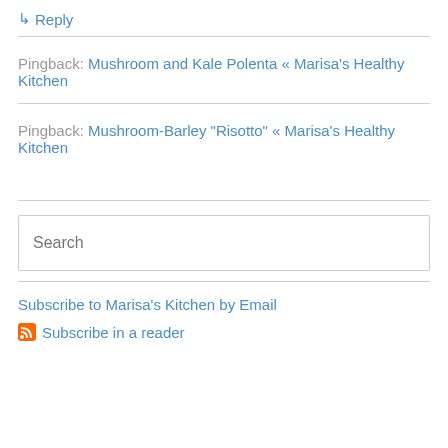↳ Reply
Pingback: Mushroom and Kale Polenta « Marisa's Healthy Kitchen
Pingback: Mushroom-Barley "Risotto" « Marisa's Healthy Kitchen
Search
Subscribe to Marisa's Kitchen by Email
Subscribe in a reader